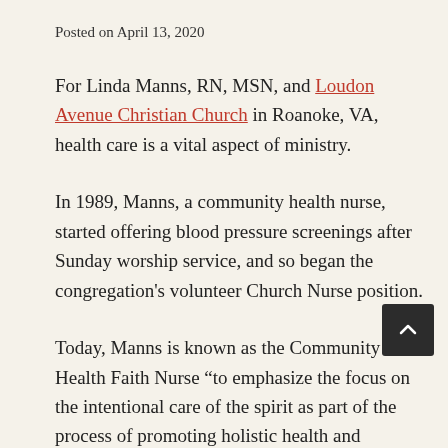Posted on April 13, 2020
For Linda Manns, RN, MSN, and Loudon Avenue Christian Church in Roanoke, VA, health care is a vital aspect of ministry.
In 1989, Manns, a community health nurse, started offering blood pressure screenings after Sunday worship service, and so began the congregation's volunteer Church Nurse position.
Today, Manns is known as the Community Health Faith Nurse “to emphasize the focus on the intentional care of the spirit as part of the process of promoting holistic health and